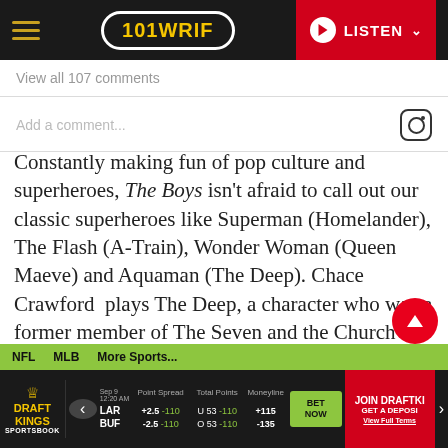101 WRIF | LISTEN
View all 107 comments
Add a comment...
Constantly making fun of pop culture and superheroes, The Boys isn't afraid to call out our classic superheroes like Superman (Homelander), The Flash (A-Train), Wonder Woman (Queen Maeve) and Aquaman (The Deep). Chace Crawford  plays The Deep, a character who was a former member of The Seven and the Church of the Collective. The D...
NFL  MLB  More Sports... | LAR +2.5 -110 U53 -110 +115 | BUF -2.5 -110 O53 -110 -135 | BET NOW | JOIN DRAFTKINGS GET A DEPOSIT | View Full Terms